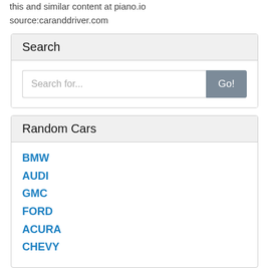this and similar content at piano.io
source:caranddriver.com
Search
[Figure (screenshot): Search input box with placeholder text 'Search for...' and a grey 'Go!' button]
Random Cars
BMW
AUDI
GMC
FORD
ACURA
CHEVY